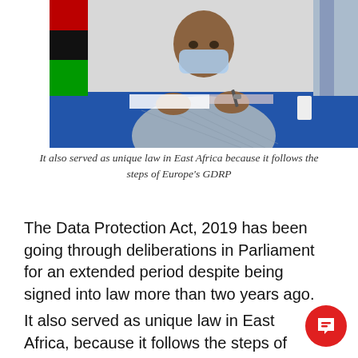[Figure (photo): A man wearing a blue patterned shirt and face mask sitting at a blue table, writing on documents, with flags in the background including what appears to be Kenya flag and another flag.]
It also served as unique law in East Africa because it follows the steps of Europe's GDRP
The Data Protection Act, 2019 has been going through deliberations in Parliament for an extended period despite being signed into law more than two years ago.
It also served as unique law in East Africa, because it follows the steps of Europe's GDR and was necessary because Kenya was and is experiencing data protection abuses.